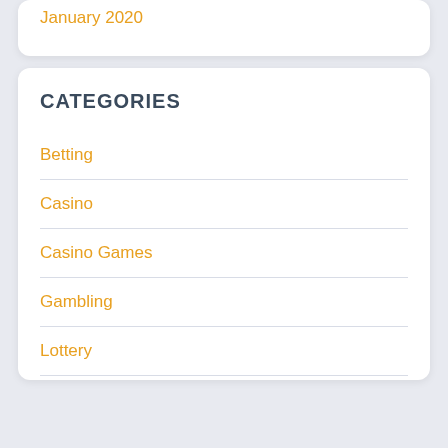January 2020
CATEGORIES
Betting
Casino
Casino Games
Gambling
Lottery
Poker